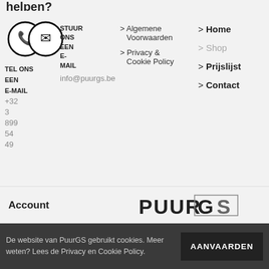helpen?
[Figure (illustration): Two overlapping circles with icons: a phone icon and an envelope/mail icon]
TEL ONS EEN E-MAIL
+32 3 899 54 49
STUUR ONS EEN E-MAIL
info@puurgs.be
> Algemene Voorwaarden
> Privacy & Cookie Policy
> Home
> Shop
> Prijslijst
> Contact
Account
[Figure (logo): PUURGS logo in bold sans-serif font]
De website van PuurGS gebruikt cookies. Meer weten? Lees de Privacy en Cookie Policy.
AANVAARDEN